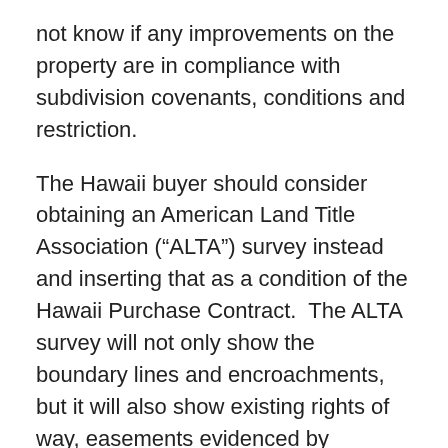not know if any improvements on the property are in compliance with subdivision covenants, conditions and restriction.
The Hawaii buyer should consider obtaining an American Land Title Association (“ALTA”) survey instead and inserting that as a condition of the Hawaii Purchase Contract.  The ALTA survey will not only show the boundary lines and encroachments, but it will also show existing rights of way, easements evidenced by recorded documents, and setback or building restriction lines.
All of those are important for knowing if you cannot build in a certain area on the parcel or